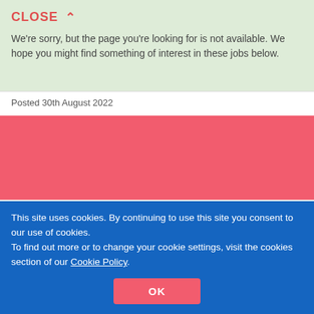CLOSE ∧
We're sorry, but the page you're looking for is not available. We hope you might find something of interest in these jobs below.
Posted 30th August 2022
[Figure (other): Red/salmon colored banner bar]
[Figure (other): Light cream section with upward chevron icon]
Recruiters / Advertisers
This site uses cookies. By continuing to use this site you consent to our use of cookies.
To find out more or to change your cookie settings, visit the cookies section of our Cookie Policy.
OK